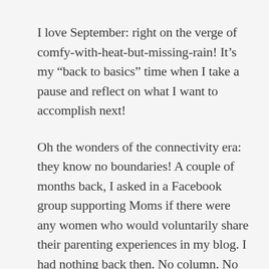I love September: right on the verge of comfy-with-heat-but-missing-rain! It’s my “back to basics” time when I take a pause and reflect on what I want to accomplish next!
Oh the wonders of the connectivity era: they know no boundaries! A couple of months back, I asked in a Facebook group supporting Moms if there were any women who would voluntarily share their parenting experiences in my blog. I had nothing back then. No column. No blog either: Just my ideas and enthusiasm. I had to test the waters, though. Would anyone come forth? Would